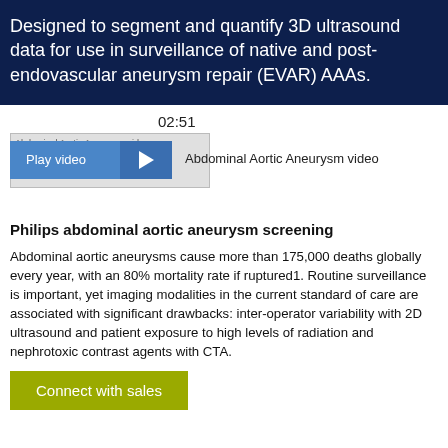Designed to segment and quantify 3D ultrasound data for use in surveillance of native and post-endovascular aneurysm repair (EVAR) AAAs.
[Figure (screenshot): Video player thumbnail for Abdominal Aortic Aneurysm video showing timestamp 02:51, a 'Play video' button and a play arrow button.]
Philips abdominal aortic aneurysm screening
Abdominal aortic aneurysms cause more than 175,000 deaths globally every year, with an 80% mortality rate if ruptured1. Routine surveillance is important, yet imaging modalities in the current standard of care are associated with significant drawbacks: inter-operator variability with 2D ultrasound and patient exposure to high levels of radiation and nephrotoxic contrast agents with CTA.
Connect with sales